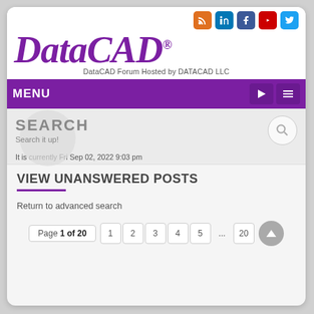[Figure (logo): DataCAD logo with tagline 'DataCAD Forum Hosted by DATACAD LLC' and social media icons (RSS, LinkedIn, Facebook, YouTube, Twitter)]
MENU
SEARCH
Search it up!
It is currently Fri Sep 02, 2022 9:03 pm
VIEW UNANSWERED POSTS
Return to advanced search
Page 1 of 20    1    2    3    4    5    ...    20